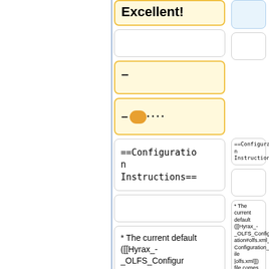Excellent!
–
–....
==Configuration Instructions==
* The current default ([[Hyrax_-_OLFS_Configuration#olfs.xml_Configuration_File |olfs.xml]]) file comes with
==Configuration Instructions==
* The current default ([[Hyrax_-_OLFS_Configuration#olfs.xml_Configuration_File |olfs.xml]]) file comes with